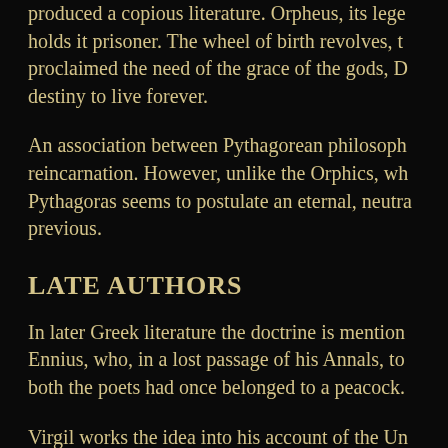produced a copious literature. Orpheus, its lege holds it prisoner. The wheel of birth revolves, t proclaimed the need of the grace of the gods, D destiny to live forever.
An association between Pythagorean philosoph reincarnation. However, unlike the Orphics, wh Pythagoras seems to postulate an eternal, neutra previous.
LATE AUTHORS
In later Greek literature the doctrine is mention Ennius, who, in a lost passage of his Annals, to both the poets had once belonged to a peacock.
Virgil works the idea into his account of the Un the other Neoplatonists. In the Hermetic C